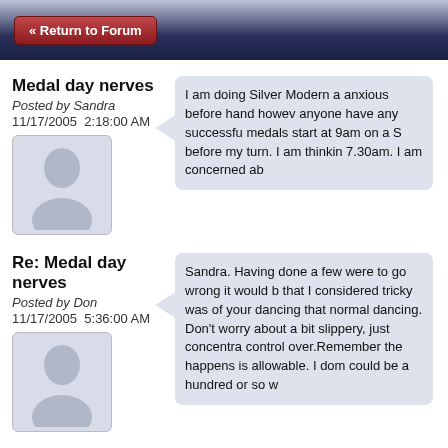« Return to Forum
Medal day nerves
Posted by Sandra
11/17/2005  2:18:00 AM
[Figure (illustration): Default user avatar silhouette placeholder image]
I am doing Silver Modern a anxious before hand however anyone have any successfu medals start at 9am on a S before my turn. I am thinkin 7.30am. I am concerned ab
Re: Medal day nerves
Posted by Don
11/17/2005  5:36:00 AM
[Figure (illustration): Default user avatar silhouette placeholder image]
Sandra. Having done a few were to go wrong it would b that I considered tricky was of your dancing that normal dancing. Don't worry about a bit slippery, just concentra control over.Remember the happens is allowable. I dom could be a hundred or so w